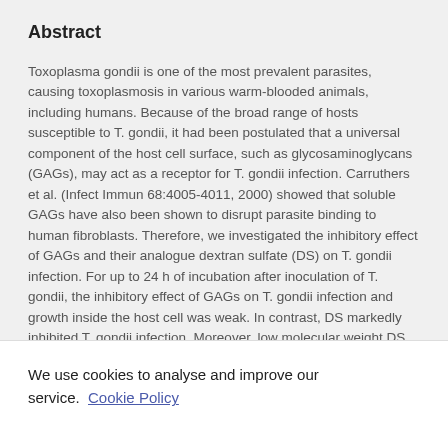Abstract
Toxoplasma gondii is one of the most prevalent parasites, causing toxoplasmosis in various warm-blooded animals, including humans. Because of the broad range of hosts susceptible to T. gondii, it had been postulated that a universal component of the host cell surface, such as glycosaminoglycans (GAGs), may act as a receptor for T. gondii infection. Carruthers et al. (Infect Immun 68:4005-4011, 2000) showed that soluble GAGs have also been shown to disrupt parasite binding to human fibroblasts. Therefore, we investigated the inhibitory effect of GAGs and their analogue dextran sulfate (DS) on T. gondii infection. For up to 24 h of incubation after inoculation of T. gondii, the inhibitory effect of GAGs on T. gondii infection and growth inside the host cell was weak. In contrast, DS markedly inhibited T. gondii infection. Moreover, low molecular weight DS particularly slowed the growth of T. gondii inside host cells. DS10 (dextran sulfate MW 10 kDa) was the most effective agent
We use cookies to analyse and improve our service. Cookie Policy